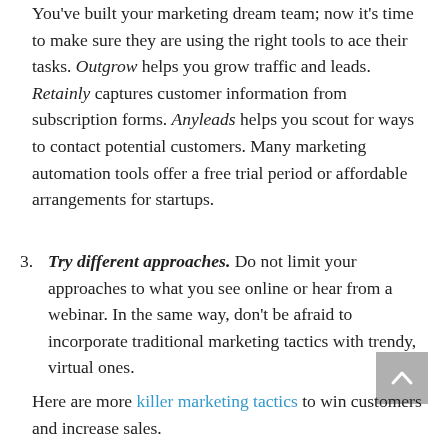You've built your marketing dream team; now it's time to make sure they are using the right tools to ace their tasks. Outgrow helps you grow traffic and leads. Retainly captures customer information from subscription forms. Anyleads helps you scout for ways to contact potential customers. Many marketing automation tools offer a free trial period or affordable arrangements for startups.
3. Try different approaches. Do not limit your approaches to what you see online or hear from a webinar. In the same way, don't be afraid to incorporate traditional marketing tactics with trendy, virtual ones.
Here are more killer marketing tactics to win customers and increase sales.